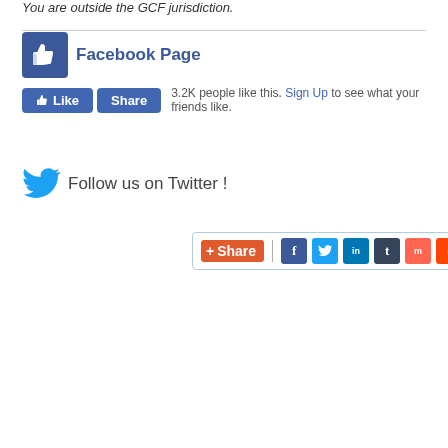You are outside the GCF jurisdiction.
[Figure (screenshot): Facebook Page like widget showing thumbs up icon, 'Facebook Page' title in blue, Like and Share buttons, and '3.2K people like this. Sign Up to see what your friends like.']
[Figure (screenshot): Twitter follow section with blue Twitter bird icon and text 'Follow us on Twitter !']
[Figure (screenshot): Social share widget with orange +Share button, vertical divider, and colored icons for Facebook (f), Twitter, LinkedIn, Tumblr, Mix, Reddit, Email]